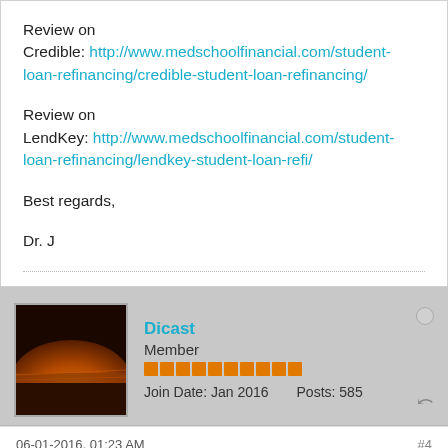Review on Credible: http://www.medschoolfinancial.com/student-loan-refinancing/credible-student-loan-refinancing/
Review on LendKey: http://www.medschoolfinancial.com/student-loan-refinancing/lendkey-student-loan-refi/
Best regards,
Dr. J
Dicast
Member
Join Date: Jan 2016   Posts: 585
06-01-2016, 01:23 AM
#4
Customized Student